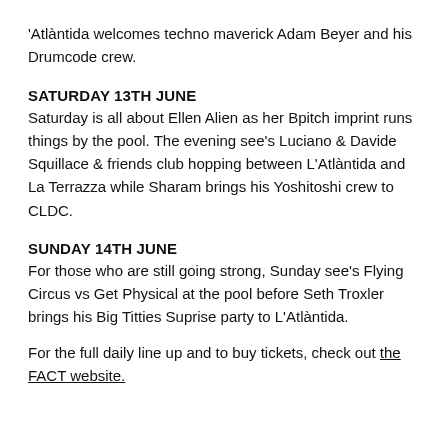'Atlàntida welcomes techno maverick Adam Beyer and his Drumcode crew.
SATURDAY 13TH JUNE
Saturday is all about Ellen Alien as her Bpitch imprint runs things by the pool. The evening see's Luciano & Davide Squillace & friends club hopping between L'Atlàntida and La Terrazza while Sharam brings his Yoshitoshi crew to CLDC.
SUNDAY 14TH JUNE
For those who are still going strong, Sunday see's Flying Circus vs Get Physical at the pool before Seth Troxler brings his Big Titties Suprise party to L'Atlàntida.
For the full daily line up and to buy tickets, check out the FACT website.